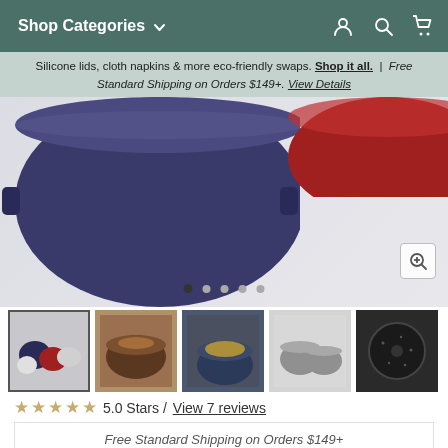Shop Categories
Silicone lids, cloth napkins & more eco-friendly swaps. Shop it all. | Free Standard Shipping on Orders $149+. View Details
[Figure (photo): Close-up hero photo of a dark navy/purple cast iron Dutch oven pot on the left, and a red cast iron lid visible on the right, on a light gray surface.]
[Figure (photo): Thumbnail 1 (selected): Multiple mini Dutch ovens in various colors including white, gray, red on a white background.]
[Figure (photo): Thumbnail 2: Roasted chicken or meat dish inside an open cast iron Dutch oven.]
[Figure (photo): Thumbnail 3: Dark blue Dutch oven with yellow soup/stew inside, on a wooden surface.]
[Figure (photo): Thumbnail 4: Two small gray mini Dutch ovens with lids on a plain background.]
[Figure (photo): Thumbnail 5: Black speckled cast iron Dutch oven viewed from above on a dark background.]
★★★★★ 5.0 Stars / View 7 reviews
Free Standard Shipping on Orders $149+
SELECT COLOR: